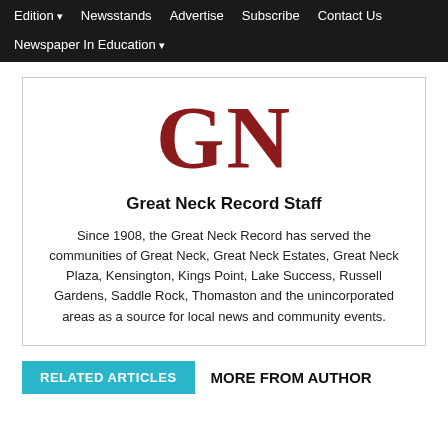Edition ▾  Newsstands  Advertise  Subscribe  Contact Us  Newspaper In Education ▾
[Figure (logo): GN initials logo in dark red serif font for Great Neck Record]
Great Neck Record Staff
Since 1908, the Great Neck Record has served the communities of Great Neck, Great Neck Estates, Great Neck Plaza, Kensington, Kings Point, Lake Success, Russell Gardens, Saddle Rock, Thomaston and the unincorporated areas as a source for local news and community events.
RELATED ARTICLES   MORE FROM AUTHOR